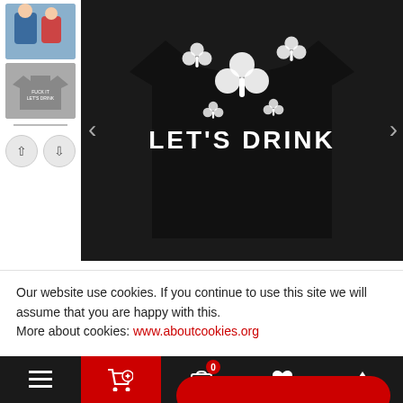[Figure (screenshot): E-commerce product page showing a black t-shirt with shamrocks and 'LET'S DRINK' text, with thumbnail sidebar showing alternate views and navigation arrows]
Our website use cookies. If you continue to use this site we will assume that you are happy with this.
More about cookies: www.aboutcookies.org
[Figure (screenshot): Bottom navigation bar with hamburger menu, red cart icon, shopping basket with badge '0', heart/wishlist icon, and up-arrow icon on black background]